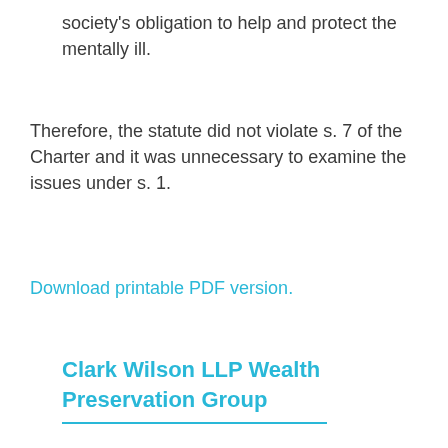society's obligation to help and protect the mentally ill.
Therefore, the statute did not violate s. 7 of the Charter and it was unnecessary to examine the issues under s. 1.
Download printable PDF version.
Clark Wilson LLP Wealth Preservation Group